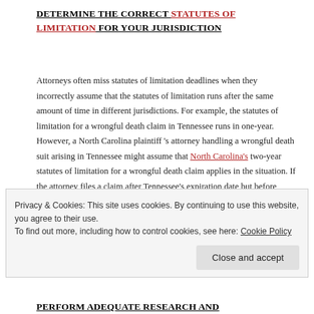DETERMINE THE CORRECT STATUTES OF LIMITATION FOR YOUR JURISDICTION
Attorneys often miss statutes of limitation deadlines when they incorrectly assume that the statutes of limitation runs after the same amount of time in different jurisdictions. For example, the statutes of limitation for a wrongful death claim in Tennessee runs in one-year.  However, a North Carolina plaintiff 's attorney handling a wrongful death suit arising in Tennessee might assume that North Carolina's two-year statutes of limitation for a wrongful death claim applies in the situation. If the attorney files a claim after Tennessee's expiration date but before North Carolina's...
Privacy & Cookies: This site uses cookies. By continuing to use this website, you agree to their use.
To find out more, including how to control cookies, see here: Cookie Policy
PERFORM ADEQUATE RESEARCH AND